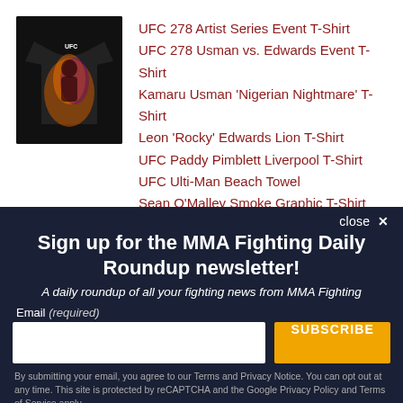[Figure (photo): Black UFC t-shirt with fighter artwork in orange/purple color scheme]
UFC 278 Artist Series Event T-Shirt
UFC 278 Usman vs. Edwards Event T-Shirt
Kamaru Usman 'Nigerian Nightmare' T-Shirt
Leon 'Rocky' Edwards Lion T-Shirt
UFC Paddy Pimblett Liverpool T-Shirt
UFC Ulti-Man Beach Towel
Sean O'Malley Smoke Graphic T-Shirt
Sign up for the MMA Fighting Daily Roundup newsletter!
A daily roundup of all your fighting news from MMA Fighting
Email (required)
SUBSCRIBE
By submitting your email, you agree to our Terms and Privacy Notice. You can opt out at any time. This site is protected by reCAPTCHA and the Google Privacy Policy and Terms of Service apply.